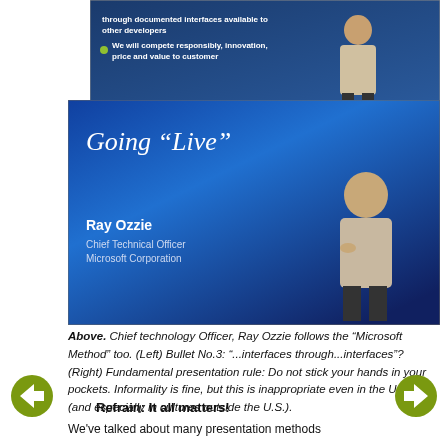[Figure (photo): Top photo: a presentation slide showing bullet points about interfaces and competition, with a presenter standing in front. Slide text: 'through documented interfaces available to other developers' and 'We will compete responsibly, innovation, price and value to customers']
[Figure (photo): Bottom photo: Ray Ozzie presenting in front of a blue slide reading 'Going "Live"' with his name and title 'Chief Technical Officer, Microsoft Corporation' shown on the slide]
Above. Chief technology Officer, Ray Ozzie follows the "Microsoft Method" too. (Left) Bullet No.3: "...interfaces through...interfaces"? (Right) Fundamental presentation rule: Do not stick your hands in your pockets. Informality is fine, but this is inappropriate even in the USA (and especially in cultures outside the U.S.).
Refrain: It all matters!
We've talked about many presentation methods